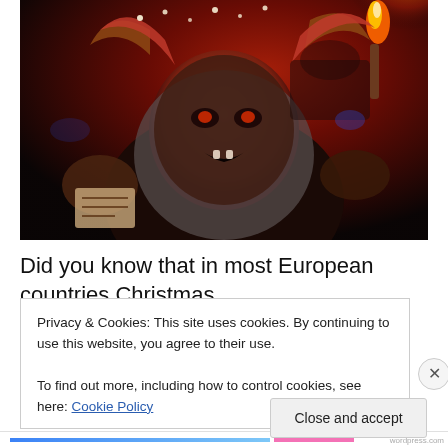[Figure (photo): A person in a Krampus costume with horns, fur, and a frightening mask, holding a torch with red/fire lighting in a dark nighttime setting.]
Did you know that in most European countries Christmas
Privacy & Cookies: This site uses cookies. By continuing to use this website, you agree to their use.
To find out more, including how to control cookies, see here: Cookie Policy